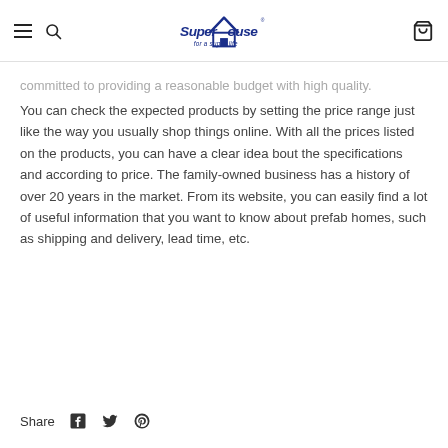SuperHouse – for a super life
committed to providing a reasonable budget with high quality. You can check the expected products by setting the price range just like the way you usually shop things online. With all the prices listed on the products, you can have a clear idea bout the specifications and according to price. The family-owned business has a history of over 20 years in the market. From its website, you can easily find a lot of useful information that you want to know about prefab homes, such as shipping and delivery, lead time, etc.
Share